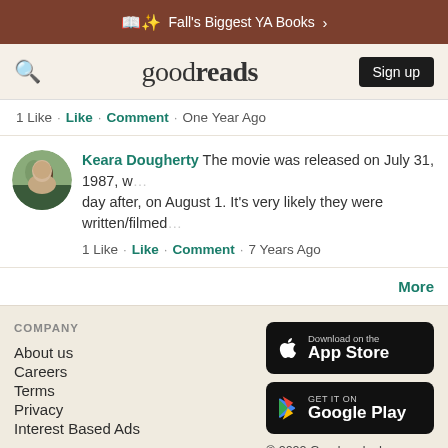Fall's Biggest YA Books >
goodreads  Sign up
1 Like · Like · Comment · One Year Ago
Keara Dougherty The movie was released on July 31, 1987, w... day after, on August 1. It's very likely they were written/filmed...
1 Like · Like · Comment · 7 Years Ago
More
COMPANY
About us
Careers
Terms
Privacy
Interest Based Ads
[Figure (screenshot): Download on the App Store badge]
[Figure (screenshot): Get it on Google Play badge]
© 2022 Goodreads, Inc.